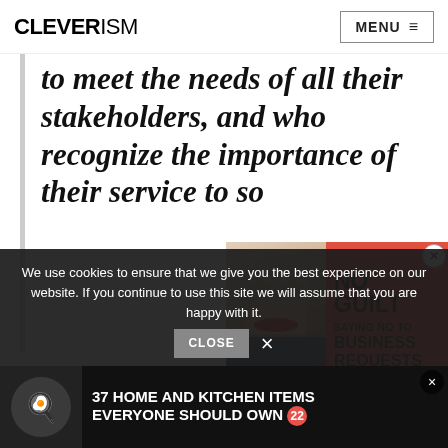CLEVERISM | MENU
to meet the needs of all their stakeholders, and who recognize the importance of their service to so
A year after Authentic Leaders
[Figure (photo): Video ad overlay showing a woman with expression of surprise, with red background and text: NO GUILT SAYING NO TO BUSINESS REQUESTS]
We use cookies to ensure that we give you the best experience on our website. If you continue to use this site we will assume that you are happy with it.
[Figure (infographic): Bottom banner ad: 37 HOME AND KITCHEN ITEMS EVERYONE SHOULD OWN with number badge 22]